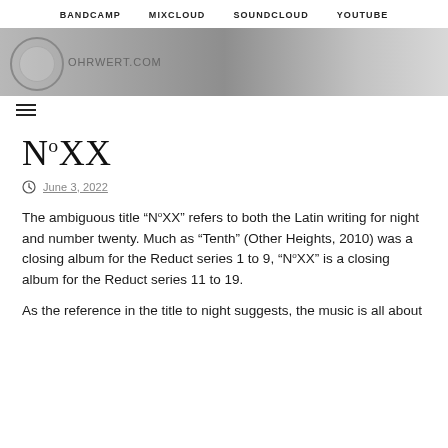BANDCAMP   MIXCLOUD   SOUNDCLOUD   YOUTUBE
[Figure (logo): Ohrwert.com banner with circular logo and gradient grey background]
[Figure (other): Hamburger menu icon (three horizontal lines)]
NºXX
June 3, 2022
The ambiguous title “NºXX” refers to both the Latin writing for night and number twenty. Much as “Tenth” (Other Heights, 2010) was a closing album for the Reduct series 1 to 9, “NºXX” is a closing album for the Reduct series 11 to 19.
As the reference in the title to night suggests, the music is all about